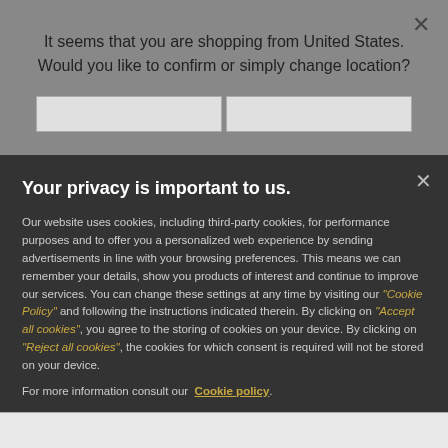It seems that you are shopping from United States. Would you like to confirm or simply change location?
Your privacy is important to us.
Our website uses cookies, including third-party cookies, for performance purposes and to offer you a personalized web experience by sending advertisements in line with your browsing preferences. This means we can remember your details, show you products of interest and continue to improve our services. You can change these settings at any time by visiting our "Cookie Policy" and following the instructions indicated therein. By clicking on "Accept all cookies", you agree to the storing of cookies on your device. By clicking on "Reject all cookies", the cookies for which consent is required will not be stored on your device.
For more information consult our Cookie policy